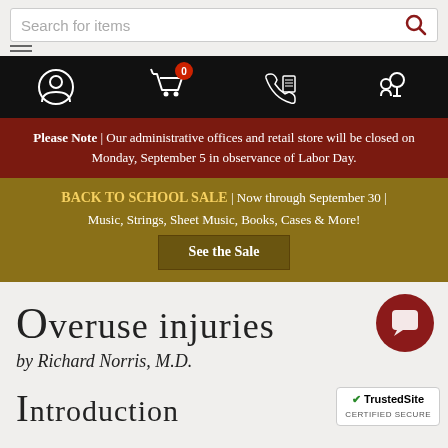[Figure (screenshot): Website header with search bar, hamburger menu, and navigation icons (account, cart with 0 badge, phone, store locator) on black background]
Please Note | Our administrative offices and retail store will be closed on Monday, September 5 in observance of Labor Day.
BACK TO SCHOOL SALE | Now through September 30 | Music, Strings, Sheet Music, Books, Cases & More! See the Sale
Overuse injuries
by Richard Norris, M.D.
Introduction